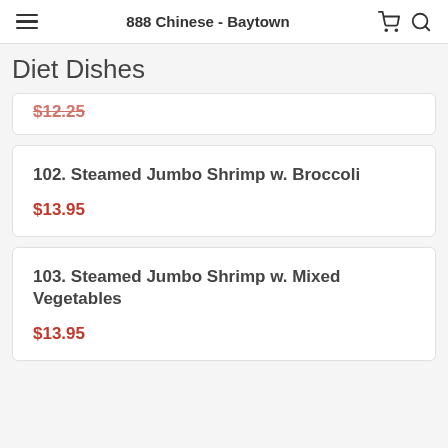888 Chinese - Baytown
Diet Dishes
$12.25 (partial, clipped)
102. Steamed Jumbo Shrimp w. Broccoli
$13.95
103. Steamed Jumbo Shrimp w. Mixed Vegetables
$13.95